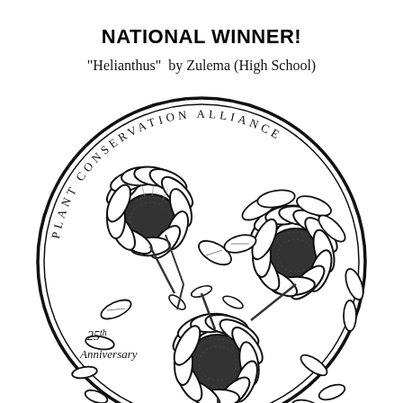NATIONAL WINNER!
"Helianthus" by Zulema (High School)
[Figure (illustration): A circular medal/coin design featuring sunflowers (Helianthus) drawn in black and white line art. The coin border reads 'PLANT CONSERVATION ALLIANCE' around the top arc. In the lower left area the text '25th Anniversary' is handwritten. The design shows multiple large sunflowers with detailed petals and seed centers filling the circular frame.]